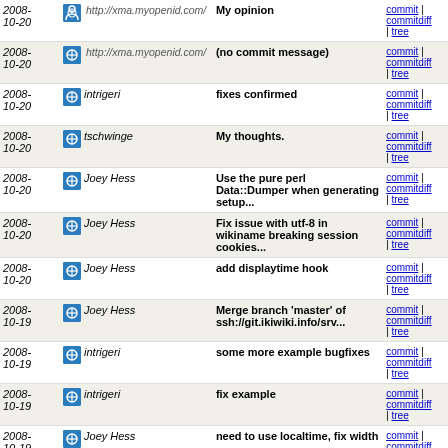| Date | Author | Message | Links |
| --- | --- | --- | --- |
| 2008-10-20 | http://xma.myopenid.com/ | My opinion | commit | commitdiff | tree |
| 2008-10-20 | http://xma.myopenid.com/ | (no commit message) | commit | commitdiff | tree |
| 2008-10-20 | intrigeri | fixes confirmed | commit | commitdiff | tree |
| 2008-10-20 | tschwinge | My thoughts. | commit | commitdiff | tree |
| 2008-10-20 | Joey Hess | Use the pure perl Data::Dumper when generating setup... | commit | commitdiff | tree |
| 2008-10-20 | Joey Hess | Fix issue with utf-8 in wikiname breaking session cookies... | commit | commitdiff | tree |
| 2008-10-20 | Joey Hess | add displaytime hook | commit | commitdiff | tree |
| 2008-10-19 | Joey Hess | Merge branch 'master' of ssh://git.ikiwiki.info/srv... | commit | commitdiff | tree |
| 2008-10-19 | intrigeri | some more example bugfixes | commit | commitdiff | tree |
| 2008-10-19 | intrigeri | fix example | commit | commitdiff | tree |
| 2008-10-19 | Joey Hess | need to use localtime, fix width | commit | commitdiff | tree |
| 2008-10-19 | Joey Hess | response | commit | commitdiff | tree |